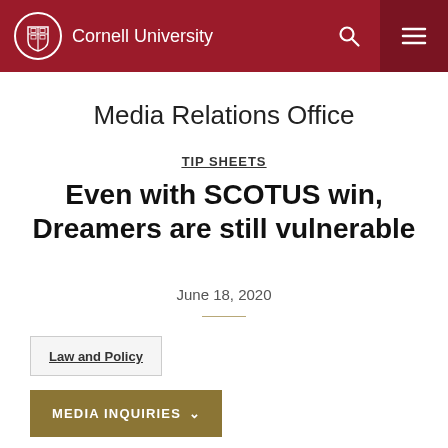Cornell University
Media Relations Office
TIP SHEETS
Even with SCOTUS win, Dreamers are still vulnerable
June 18, 2020
Law and Policy
MEDIA INQUIRIES